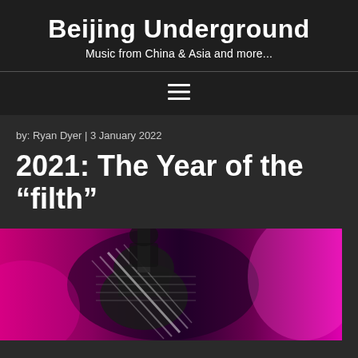Beijing Underground
Music from China & Asia and more...
≡
by: Ryan Dyer | 3 January 2022
2021: The Year of the “filth”
[Figure (photo): Concert photo showing a guitarist with a plaid/striped guitar against a pink/magenta light background]